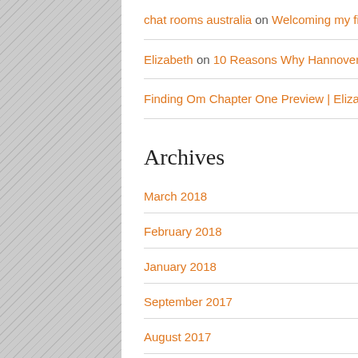chat rooms australia on Welcoming my first Goodreads.com Finding Om Book Review
Elizabeth on 10 Reasons Why Hannover is an Amazing Place to Live
Finding Om Chapter One Preview | Elizabeth Kovar on Books
Archives
March 2018
February 2018
January 2018
September 2017
August 2017
July 2017
May 2017
April 2017